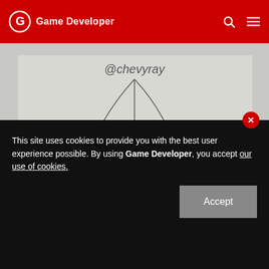Game Developer
[Figure (photo): A hand-drawn sketch on paper showing arrows and the handwritten text 'What.?!' with the watermark '@chevyray' at the top.]
The idea is that the first five ideas are probably too
This site uses cookies to provide you with the best user experience possible. By using Game Developer, you accept our use of cookies.
Accept